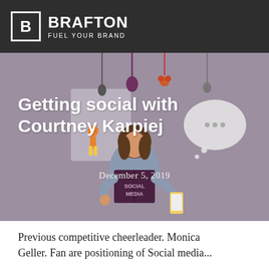BRAFTON — FUEL YOUR BRAND
[Figure (illustration): Illustrated woman sitting cross-legged reading a book labeled 'SOCIAL MEDIA', holding a phone, with floating kitchen utensils and a speech bubble in the background, on a muted purple-grey background]
Getting social with Courtney Karpiej
December 5, 2019
Previous competitive cheerleader. Monica Geller. Fan are positioning of Social media...